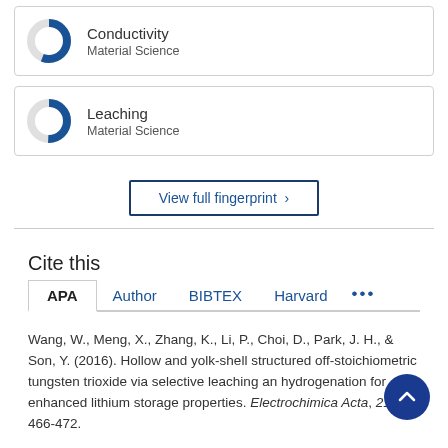[Figure (donut-chart): Donut chart for Conductivity, Material Science, approximately 55% filled in blue]
[Figure (donut-chart): Donut chart for Leaching, Material Science, approximately 50% filled in blue]
View full fingerprint >
Cite this
APA  Author  BIBTEX  Harvard  ...
Wang, W., Meng, X., Zhang, K., Li, P., Choi, D., Park, J. H., & Son, Y. (2016). Hollow and yolk-shell structured off-stoichiometric tungsten trioxide via selective leaching and hydrogenation for enhanced lithium storage properties. Electrochimica Acta, 215, 466-472.